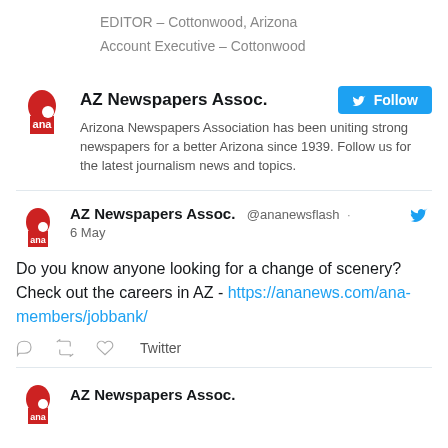EDITOR – Cottonwood, Arizona
Account Executive – Cottonwood
[Figure (screenshot): Twitter profile card for AZ Newspapers Assoc. with Follow button and bio: Arizona Newspapers Association has been uniting strong newspapers for a better Arizona since 1939. Follow us for the latest journalism news and topics.]
[Figure (screenshot): Tweet from AZ Newspapers Assoc. @ananewsflash on 6 May: Do you know anyone looking for a change of scenery? Check out the careers in AZ - https://ananews.com/ana-members/jobbank/ with reply, retweet, like icons and Twitter label.]
[Figure (screenshot): Partial bottom of another AZ Newspapers Assoc. tweet card, showing only the avatar and beginning of name.]